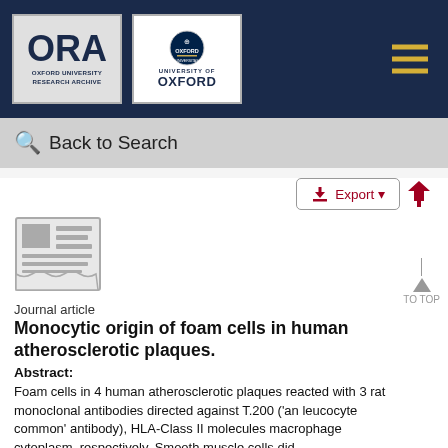ORA Oxford University Research Archive | University of Oxford
Back to Search
Export
[Figure (illustration): Journal article document icon with grey newspaper/article graphic]
Journal article
Monocytic origin of foam cells in human atherosclerotic plaques.
Abstract:
Foam cells in 4 human atherosclerotic plaques reacted with 3 rat monoclonal antibodies directed against T.200 ('an leucocyte common' antibody), HLA-Class II molecules macrophage cytoplasm, respectively. Smooth muscle cells did